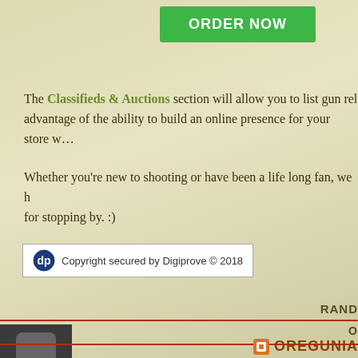[Figure (other): Green ORDER NOW button]
The Classifieds & Auctions section will allow you to list gun rel… advantage of the ability to build an online presence for your store w…
Whether you're new to shooting or have been a life long fan, we h… for stopping by. :)
[Figure (other): Copyright secured by Digiprove © 2018 badge]
RAND
[Figure (photo): Person holding a gun, avatar thumbnail]
O
OREGUNIA